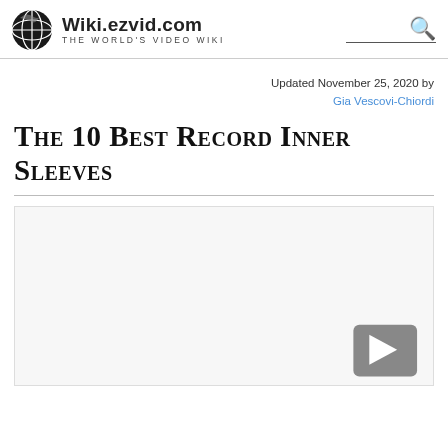Wiki.ezvid.com — The World's Video Wiki
Updated November 25, 2020 by Gia Vescovi-Chiordi
The 10 Best Record Inner Sleeves
[Figure (other): Embedded video player area with play button, mostly blank/white with a dark play button icon in the lower right corner]